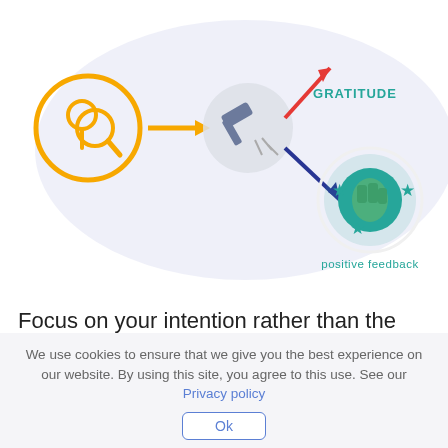[Figure (infographic): Infographic showing a process: a location/search icon with magnifying glass (orange), an orange arrow pointing right, a hammer breaking something (grey circle), a red arrow pointing up-right, a dark blue arrow pointing down-right to a teal/green burst icon with stars labeled 'positive feedback', and a label 'GRATITUDE' in teal. Background is a light blue-grey cloud shape.]
Focus on your intention rather than the words. Change your perspective from negative and
Sign up for email updates!
Join our community of leaders and stay in touch with the latest industry trends about people and culture and the future of work!
We use cookies to ensure that we give you the best experience on our website. By using this site, you agree to this use. See our Privacy policy
Ok